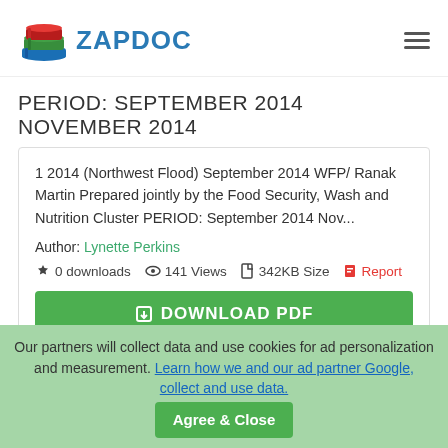[Figure (logo): Zapdoc logo with stacked books icon and ZAPDOC text in blue]
PERIOD: SEPTEMBER 2014 NOVEMBER 2014
1 2014 (Northwest Flood) September 2014 WFP/ Ranak Martin Prepared jointly by the Food Security, Wash and Nutrition Cluster PERIOD: September 2014 Nov...
Author: Lynette Perkins
0 downloads  141 Views  342KB Size  Report
DOWNLOAD PDF
Our partners will collect data and use cookies for ad personalization and measurement. Learn how we and our ad partner Google, collect and use data.
Agree & Close